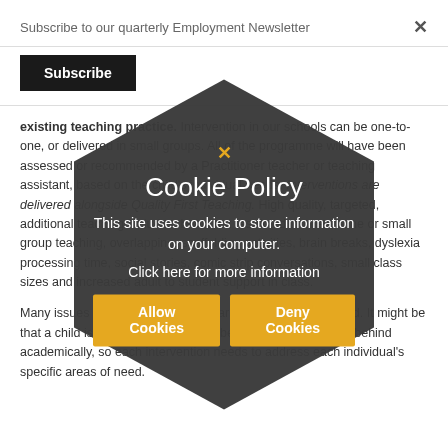Subscribe to our quarterly Employment Newsletter
Subscribe
existing teaching practice. Intervention in our schools can be one-to-one, or delivered in small groups. All of the programme will have been assessed or recommended by a Practitioner teacher or teaching assistant, based on the child's individual needs. Interventions are delivered alongside Quality First Teaching. High quality, targeted, additional teaching includes, but is not restricted to one-to-one or small group teaching, overlapping, scaffolding activities, brain breaks, dyslexia processing time, social stories, comic strip conversations, small class sizes and increased adult to student support in class.
Many issues children face in their learning are interconnected. It might be that a child is displaying concerning behaviour, and is falling behind academically, so each intervention needs to address each individual's specific areas of need.
[Figure (screenshot): Cookie policy hexagon overlay with dark background, showing title 'Cookie Policy', subtitle 'This site uses cookies to store information on your computer.', link 'Click here for more information', and two buttons: 'Allow Cookies' and 'Deny Cookies'. A yellow X close button is at the top.]